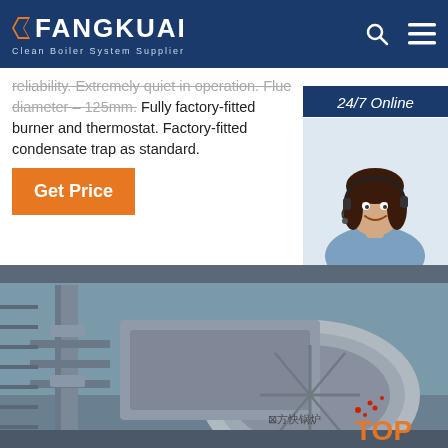FANGKUAI Clean Boiler System Supplier
reliability. Extremely quiet in operation. Flue diameter – 125mm. Fully factory-fitted burner and thermostat. Factory-fitted condensate trap as standard.
Get Price
24/7 Online
[Figure (photo): Customer service representative with headset, smiling]
Click here for free chat!
QUOTATION
[Figure (photo): Industrial boiler system / machinery in a factory setting with metal ductwork and equipment. Fangkuai logo and TOP badge visible.]